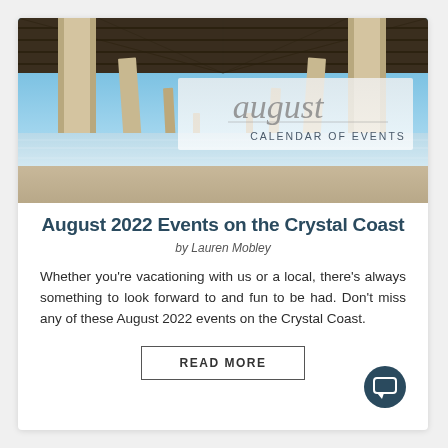[Figure (photo): Under-pier beach photo with 'august CALENDAR OF EVENTS' text overlay on a frosted banner]
August 2022 Events on the Crystal Coast
by Lauren Mobley
Whether you're vacationing with us or a local, there's always something to look forward to and fun to be had. Don't miss any of these August 2022 events on the Crystal Coast.
READ MORE